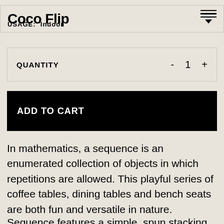Coco Flip | USAGE: Indoor
| QUANTITY | - | 1 | + |
| --- | --- | --- | --- |
ADD TO CART
In mathematics, a sequence is an enumerated collection of objects in which repetitions are allowed. This playful series of coffee tables, dining tables and bench seats are both fun and versatile in nature.
Sequence features a simple, spun stacking